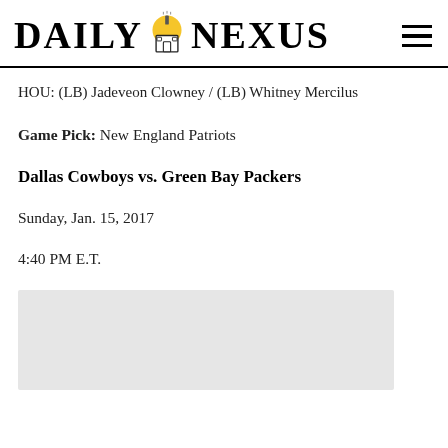DAILY NEXUS
HOU: (LB) Jadeveon Clowney / (LB) Whitney Mercilus
Game Pick: New England Patriots
Dallas Cowboys vs. Green Bay Packers
Sunday, Jan. 15, 2017
4:40 PM E.T.
[Figure (photo): Light gray placeholder image block at the bottom of the page]